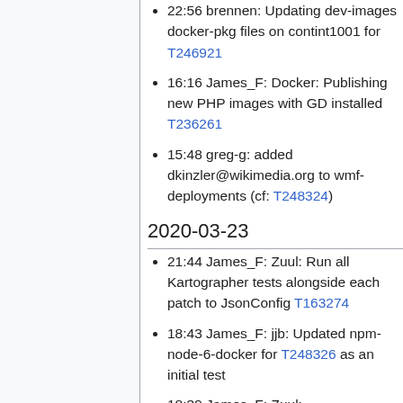22:56 brennen: Updating dev-images docker-pkg files on contint1001 for T246921
16:16 James_F: Docker: Publishing new PHP images with GD installed T236261
15:48 greg-g: added dkinzler@wikimedia.org to wmf-deployments (cf: T248324)
2020-03-23
21:44 James_F: Zuul: Run all Kartographer tests alongside each patch to JsonConfig T163274
18:43 James_F: jjb: Updated npm-node-6-docker for T248326 as an initial test
18:39 James_F: Zuul: [mediawiki/extensions/AControlImageLi… Run quibble